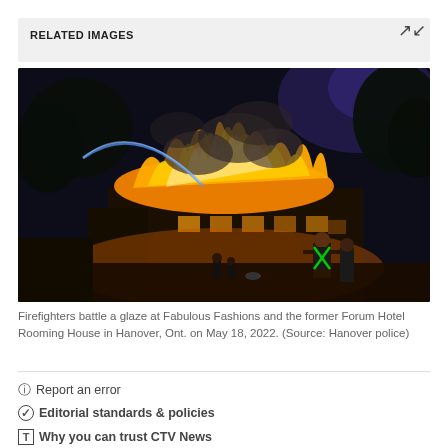RELATED IMAGES
[Figure (photo): Nighttime photo of firefighters battling a large fire at Fabulous Fashions and the former Forum Hotel Rooming House in Hanover, Ontario. Flames and thick smoke engulf the roof of a building. A firefighter in a high-visibility vest stands in the foreground watching the blaze, with a fire hose spraying water visible in the background.]
Firefighters battle a glaze at Fabulous Fashions and the former Forum Hotel Rooming House in Hanover, Ont. on May 18, 2022. (Source: Hanover police)
⊙ Report an error
✓ Editorial standards & policies
T Why you can trust CTV News